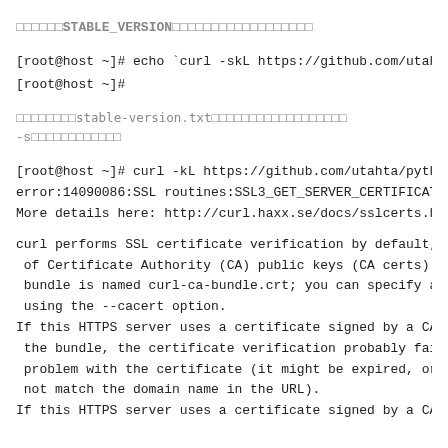□□□□□□STABLE_VERSION□□□□□□□□□□□□□□□□□□
[root@host ~]# echo `curl -skL https://github.com/utahta/
[root@host ~]#
□□□□□□□□stable-version.txt□□□□□□□□□□□□□□□□□□
-s□□□□□□□□□□□□
[root@host ~]# curl -kL https://github.com/utahta/pythonb
error:14090086:SSL routines:SSL3_GET_SERVER_CERTIFICATE:c
More details here: http://curl.haxx.se/docs/sslcerts.html
curl performs SSL certificate verification by default, us
 of Certificate Authority (CA) public keys (CA certs). Th
 bundle is named curl-ca-bundle.crt; you can specify an a
 using the --cacert option.
If this HTTPS server uses a certificate signed by a CA re
 the bundle, the certificate verification probably failed
 problem with the certificate (it might be expired, or th
 not match the domain name in the URL).
If this HTTPS server uses a certificate signed by a CA re